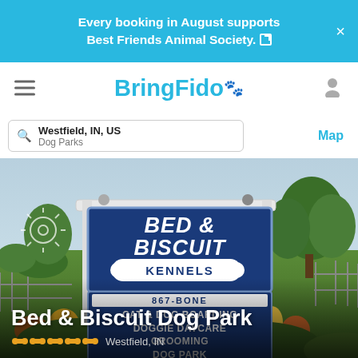Every booking in August supports Best Friends Animal Society.
[Figure (logo): BringFido logo with paw print icon in cyan/teal color]
Westfield, IN, US
Dog Parks
Map
[Figure (photo): Outdoor photo of Bed & Biscuit Kennels sign. Blue sign reads BED & BISCUIT KENNELS with a bone shape, phone number 867-BONE, services: CAT & DOG BOARDING, DOGGIE DAYCARE, GROOMING, DOG PARK. Background shows green trees, grass, flowers, and fence.]
Bed & Biscuit Dog Park
Westfield, IN